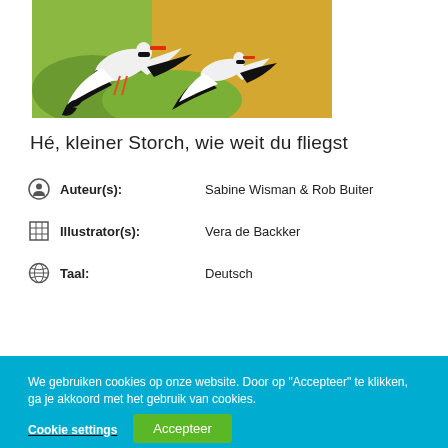[Figure (illustration): Partial book cover showing two storks (black and white birds with black wing tips) flying over a green and golden background. Top portion of the cover is cropped.]
Hé, kleiner Storch, wie weit du fliegst
Auteur(s): Sabine Wisman & Rob Buiter
Illustrator(s): Vera de Backker
Taal: Deutsch
We gebruiken cookies op onze website. Door op "Accepteer" te klikken, ga je akkoord met het gebruik van cookies.
Cookie settings
Accepteer